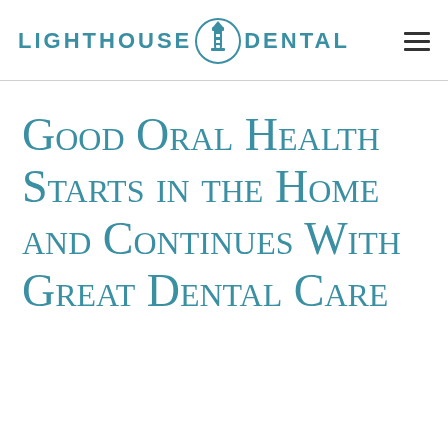[Figure (logo): Lighthouse Dental logo with lighthouse icon in a circle, teal color, uppercase sans-serif text]
Good Oral Health Starts in the Home and Continues With Great Dental Care